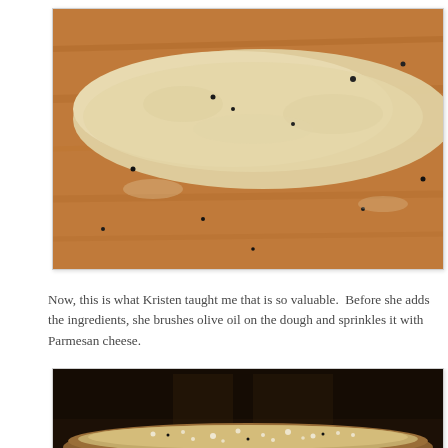[Figure (photo): Photo of raw dough flattened on a wooden cutting board, with black pepper specks visible on the dough and board surface.]
Now, this is what Kristen taught me that is so valuable.  Before she adds the ingredients, she brushes olive oil on the dough and sprinkles it with Parmesan cheese.
[Figure (photo): Photo of dough in a dark oven on a baking pan, with white cheese (Parmesan) sprinkled on top, shot from above in low oven light.]